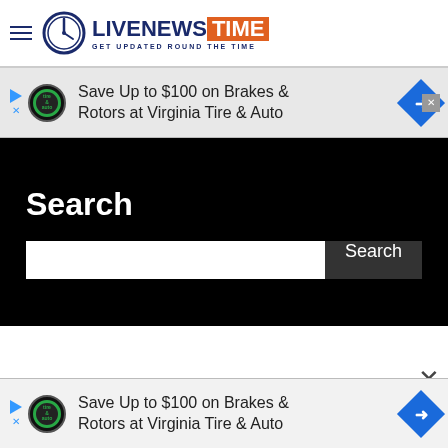LiveNewsTime — GET UPDATED ROUND THE TIME
[Figure (screenshot): Advertisement banner: Save Up to $100 on Brakes & Rotors at Virginia Tire & Auto]
Search
[Figure (screenshot): White search bar with dark 'Search' button on black background]
[Figure (screenshot): Advertisement banner (bottom): Save Up to $100 on Brakes & Rotors at Virginia Tire & Auto]